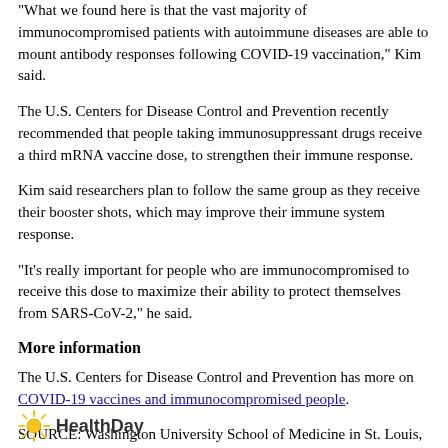"What we found here is that the vast majority of immunocompromised patients with autoimmune diseases are able to mount antibody responses following COVID-19 vaccination," Kim said.
The U.S. Centers for Disease Control and Prevention recently recommended that people taking immunosuppressant drugs receive a third mRNA vaccine dose, to strengthen their immune response.
Kim said researchers plan to follow the same group as they receive their booster shots, which may improve their immune system response.
"It's really important for people who are immunocompromised to receive this dose to maximize their ability to protect themselves from SARS-CoV-2," he said.
More information
The U.S. Centers for Disease Control and Prevention has more on COVID-19 vaccines and immunocompromised people.
SOURCE: Washington University School of Medicine in St. Louis, news release, Aug. 30, 2021
[Figure (logo): HealthDay logo with sun icon]